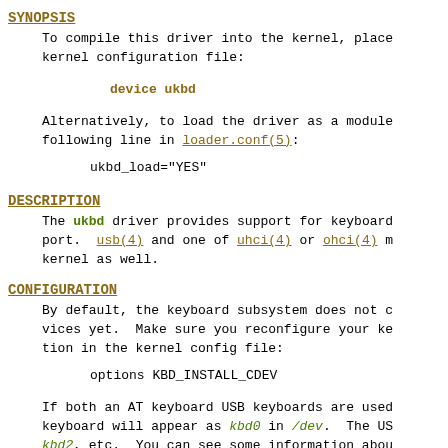SYNOPSIS
To compile this driver into the kernel, place the following line in the kernel configuration file:
device ukbd
Alternatively, to load the driver as a module at boot time, place the following line in loader.conf(5):
ukbd_load="YES"
DESCRIPTION
The ukbd driver provides support for keyboards attached to the USB port. usb(4) and one of uhci(4) or ohci(4) must be compiled into the kernel as well.
CONFIGURATION
By default, the keyboard subsystem does not claim USB keyboard devices yet. Make sure you reconfigure your kernel with the following option in the kernel config file:
options KBD_INSTALL_CDEV
If both an AT keyboard USB keyboards are used, the AT keyboard will appear as kbd0 in /dev. The USB keyboard will be kbd2, etc. You can see some information about the keyboard using the following command: